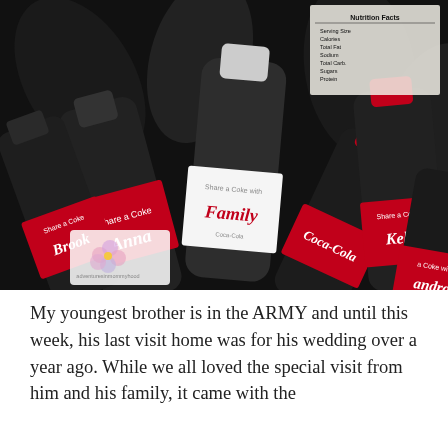[Figure (photo): A pile of Coca-Cola personalized name bottles including labels reading 'Family', 'Kelsey', 'Anna', 'Brooks', and others, in a Share a Coke campaign.]
My youngest brother is in the ARMY and until this week, his last visit home was for his wedding over a year ago. While we all loved the special visit from him and his family, it came with the